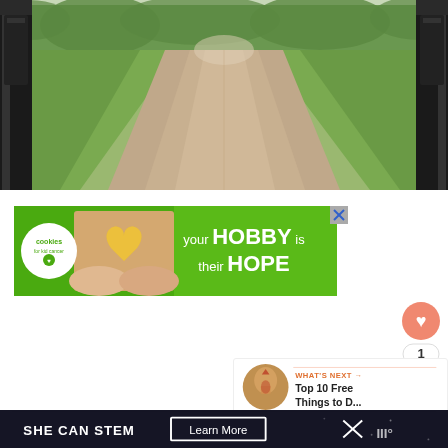[Figure (photo): Park pathway with black gate posts on either side, green grass areas, trees in background, and a paved path receding into perspective]
[Figure (infographic): Advertisement banner for cookies for kid's cancer charity: green background with white circle logo reading 'cookies for kid cancer', hands holding a heart-shaped cookie, text 'your HOBBY is their HOPE']
[Figure (infographic): Like/heart button (salmon/coral color) with count of 1, and a share button below]
[Figure (infographic): What's Next panel with thumbnail of Florence/Duomo cathedral, label 'WHAT'S NEXT —>' and title 'Top 10 Free Things to D...']
[Figure (infographic): Bottom advertisement bar with dark background, text 'SHE CAN STEM', 'Learn More' button, X close button, and logo]